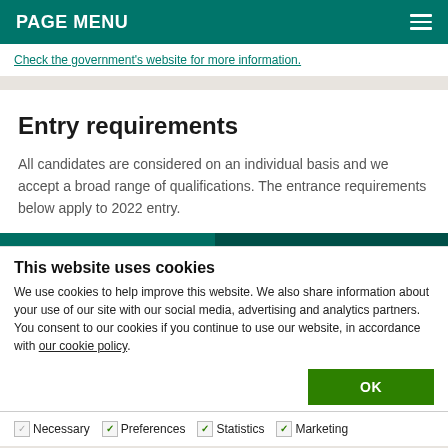PAGE MENU
Check the government's website for more information.
Entry requirements
All candidates are considered on an individual basis and we accept a broad range of qualifications. The entrance requirements below apply to 2022 entry.
This website uses cookies
We use cookies to help improve this website. We also share information about your use of our site with our social media, advertising and analytics partners. You consent to our cookies if you continue to use our website, in accordance with our cookie policy.
OK
Necessary  Preferences  Statistics  Marketing